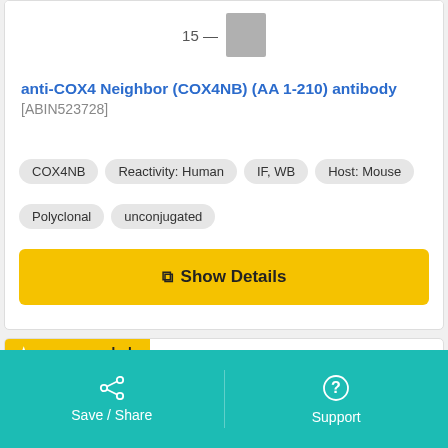[Figure (photo): Gel electrophoresis image stub showing band at 15 marker]
anti-COX4 Neighbor (COX4NB) (AA 1-210) antibody [ABIN523728]
COX4NB
Reactivity: Human
IF, WB
Host: Mouse
Polyclonal
unconjugated
Show Details
★ recommended
[Figure (photo): Gel electrophoresis image stub showing band at 250 marker]
Save / Share    Support